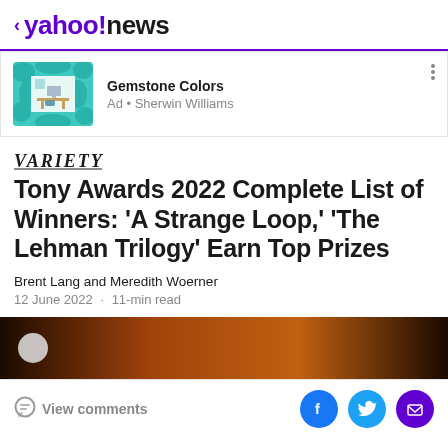< yahoo!news
[Figure (screenshot): Advertisement banner for Sherwin Williams Gemstone Colors featuring a teal/turquoise decorative frame around a room image]
Gemstone Colors
Ad • Sherwin Williams
[Figure (logo): Variety magazine logo in italic serif font]
Tony Awards 2022 Complete List of Winners: 'A Strange Loop,' 'The Lehman Trilogy' Earn Top Prizes
Brent Lang and Meredith Woerner
12 June 2022  ·  11-min read
[Figure (photo): Dark warm-toned photo of what appears to be an awards show or theater setting]
View comments